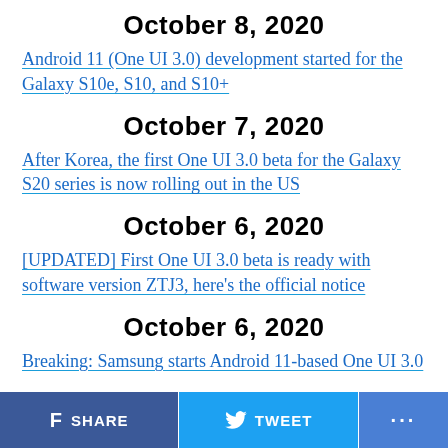October 8, 2020
Android 11 (One UI 3.0) development started for the Galaxy S10e, S10, and S10+
October 7, 2020
After Korea, the first One UI 3.0 beta for the Galaxy S20 series is now rolling out in the US
October 6, 2020
[UPDATED] First One UI 3.0 beta is ready with software version ZTJ3, here’s the official notice
October 6, 2020
Breaking: Samsung starts Android 11-based One UI 3.0
SHARE   TWEET   ...